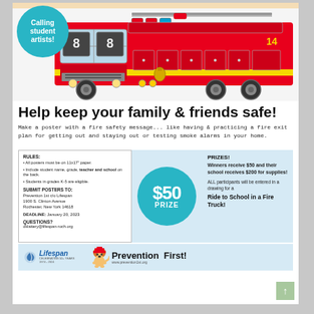[Figure (illustration): Red fire truck illustration with 'Calling student artists!' text in a teal circle bubble in the upper left corner]
Help keep your family & friends safe!
Make a poster with a fire safety message... like having & practicing a fire exit plan for getting out and staying out or testing smoke alarms in your home.
RULES:
• All posters must be on 11x17" paper.
• Include student name, grade, teacher and school on the back.
• Students in grades K-5 are eligible.
SUBMIT POSTERS TO:
Prevention 1st c/o Lifespan
1900 S. Clinton Avenue
Rochester, New York 14618
DEADLINE: January 20, 2023
QUESTIONS?
dslattery@lifespan-roch.org
[Figure (infographic): $50 PRIZE teal circle badge]
PRIZES!
Winners receive $50 and their school receives $200 for supplies!
ALL participants will be entered in a drawing for a Ride to School in a Fire Truck!
[Figure (logo): Lifespan logo with blue leaf icon]
[Figure (logo): Prevention First! logo with dog mascot wearing firefighter hat. www.prevention1st.org]